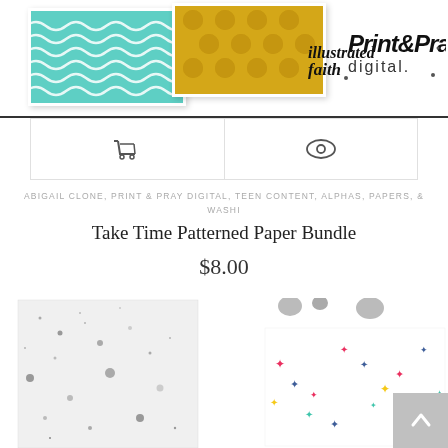[Figure (screenshot): Header banner with two decorative paper cards (teal wave pattern and yellow Moroccan pattern) on left, and Illustrated Faith / Print & Pray Digital logo on right]
[Figure (other): Navigation bar with shopping cart icon on left and eye/preview icon on right]
ABIGAIL CLONE, PRINT & PRAY DIGITAL, TEEN CONTENT, ALPHAS, PAPERS, & WASHI
Take Time Patterned Paper Bundle
$8.00
[Figure (photo): Product preview showing multiple decorative patterned papers: galaxy/space pattern with dots, unicorn and stars pattern on white, floral on navy plaid pattern]